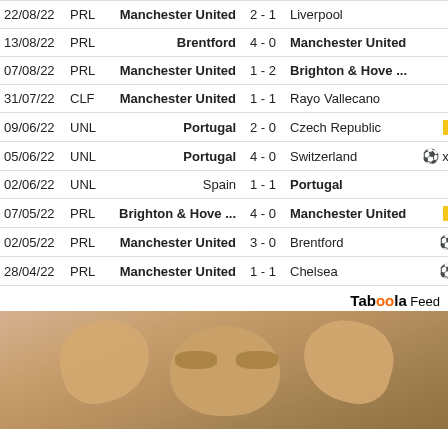| Date | Comp | Home | Score | Away | Icons |  |
| --- | --- | --- | --- | --- | --- | --- |
| 22/08/22 | PRL | Manchester United | 2 - 1 | Liverpool |  | ∨ |
| 13/08/22 | PRL | Brentford | 4 - 0 | Manchester United |  | ∨ |
| 07/08/22 | PRL | Manchester United | 1 - 2 | Brighton & Hove ... |  | ∨ |
| 31/07/22 | CLF | Manchester United | 1 - 1 | Rayo Vallecano |  | ∨ |
| 09/06/22 | UNL | Portugal | 2 - 0 | Czech Republic | 🟨 | ∨ |
| 05/06/22 | UNL | Portugal | 4 - 0 | Switzerland | ⚽ x2 | ∨ |
| 02/06/22 | UNL | Spain | 1 - 1 | Portugal |  | ∨ |
| 07/05/22 | PRL | Brighton & Hove ... | 4 - 0 | Manchester United | 🟨 | ∨ |
| 02/05/22 | PRL | Manchester United | 3 - 0 | Brentford | ⚽ | ∨ |
| 28/04/22 | PRL | Manchester United | 1 - 1 | Chelsea | ⚽ | ∨ |
Taboola Feed
[Figure (photo): Close-up photo of a woman's face with hands pressed against her eyes/cheeks, blonde hair visible]